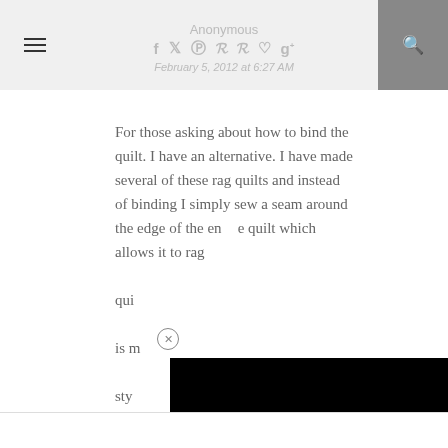Anonymous
February 5, 2012 at 6:27 AM
For those asking about how to bind the quilt. I have an alternative. I have made several of these rag quilts and instead of binding I simply sew a seam around the edge of the entire quilt which allows it to rag. The quilt is more of a style...
[Figure (other): Black overlay panel covering lower right portion of the page, partially obscuring the comment text. A close/dismiss button (circle with X) appears at the top-left of the overlay.]